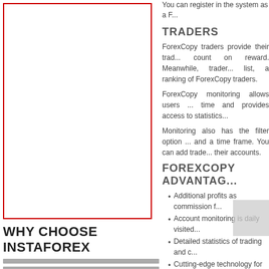[Figure (illustration): Image placeholder box with red border]
WHY CHOOSE INSTAFOREX
[Figure (other): Navigation bar lines]
You can register in the system as a F...
TRADERS
ForexCopy traders provide their trad... count on reward. Meanwhile, trader... list, a ranking of ForexCopy traders.
ForexCopy monitoring allows users ... time and provides access to statistics...
Monitoring also has the filter option ... and a time frame. You can add trade... their accounts.
FOREXCOPY ADVANTAGE
Additional profits as commission f...
Account monitoring is daily visited...
Detailed statistics of trading and c...
Cutting-edge technology for copyi...
FOLLOWERS
ForexCopy followers are the clients w... most successful traders in their view... follower can see a trader's profits fo...